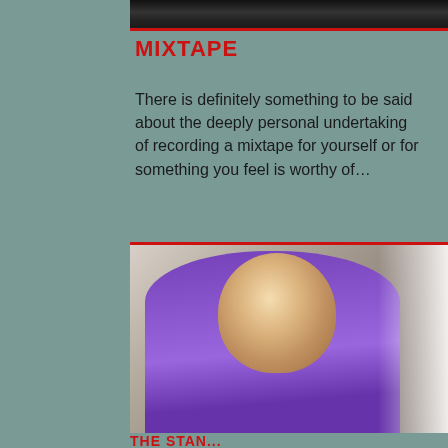[Figure (photo): Partial photo at top showing hands holding an object, cropped, dark tones]
MIXTAPE
There is definitely something to be said about the deeply personal undertaking of recording a mixtape for yourself or for something you feel is worthy of…
[Figure (photo): Portrait photo of a middle-aged man with grey beard and hair, wearing a purple shirt, smiling slightly, light background on right side]
THE STAN... (truncated at bottom)